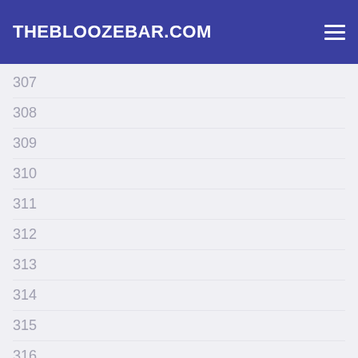THEBLOOZEBAR.COM
307
308
309
310
311
312
313
314
315
316
317
318
319
320